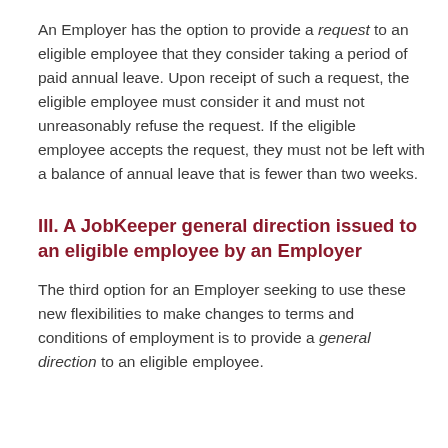An Employer has the option to provide a request to an eligible employee that they consider taking a period of paid annual leave. Upon receipt of such a request, the eligible employee must consider it and must not unreasonably refuse the request. If the eligible employee accepts the request, they must not be left with a balance of annual leave that is fewer than two weeks.
III. A JobKeeper general direction issued to an eligible employee by an Employer
The third option for an Employer seeking to use these new flexibilities to make changes to terms and conditions of employment is to provide a general direction to an eligible employee.